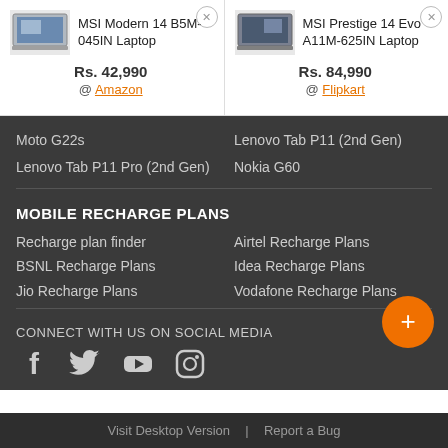[Figure (screenshot): MSI Modern 14 B5M-045IN Laptop product card with laptop image]
MSI Modern 14 B5M-045IN Laptop
Rs. 42,990 @ Amazon
[Figure (screenshot): MSI Prestige 14 Evo A11M-625IN Laptop product card with laptop image]
MSI Prestige 14 Evo A11M-625IN Laptop
Rs. 84,990 @ Flipkart
Moto G22s
Lenovo Tab P11 (2nd Gen)
Lenovo Tab P11 Pro (2nd Gen)
Nokia G60
MOBILE RECHARGE PLANS
Recharge plan finder
Airtel Recharge Plans
BSNL Recharge Plans
Idea Recharge Plans
Jio Recharge Plans
Vodafone Recharge Plans
CONNECT WITH US ON SOCIAL MEDIA
[Figure (illustration): Social media icons: Facebook, Twitter, YouTube, Instagram]
Visit Desktop Version | Report a Bug